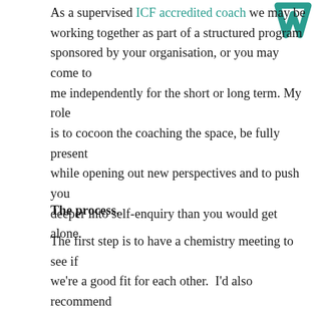[Figure (logo): Teal/dark stylized logo mark in upper right corner]
As a supervised ICF accredited coach we may be working together as part of a structured program sponsored by your organisation, or you may come to me independently for the short or long term. My role is to cocoon the coaching the space, be fully present while opening out new perspectives and to push you deeper into self-enquiry than you would get alone.
The process.
The first step is to have a chemistry meeting to see if we're a good fit for each other.  I'd also recommend you meeting around two other coaches as part of your own due diligence. I'm happy to source or recommend people to you if you want to explore beyond your own networks.